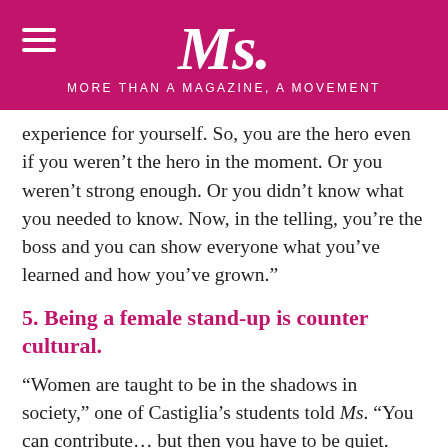Ms. MORE THAN A MAGAZINE, A MOVEMENT
experience for yourself. So, you are the hero even if you weren’t the hero in the moment. Or you weren’t strong enough. Or you didn’t know what you needed to know. Now, in the telling, you’re the boss and you can show everyone what you’ve learned and how you’ve grown.”
5. Being a female stand-up is counter cultural.
“Women are taught to be in the shadows in society,” one of Castiglia’s students told Ms. “You can contribute… but then you have to be quiet. Otherwise, don’t contribute at all.”
Stand-up is the opposite of what women have been